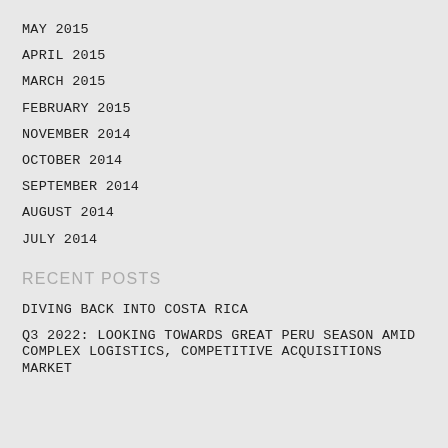MAY 2015
APRIL 2015
MARCH 2015
FEBRUARY 2015
NOVEMBER 2014
OCTOBER 2014
SEPTEMBER 2014
AUGUST 2014
JULY 2014
RECENT POSTS
DIVING BACK INTO COSTA RICA
Q3 2022: LOOKING TOWARDS GREAT PERU SEASON AMID COMPLEX LOGISTICS, COMPETITIVE ACQUISITIONS MARKET